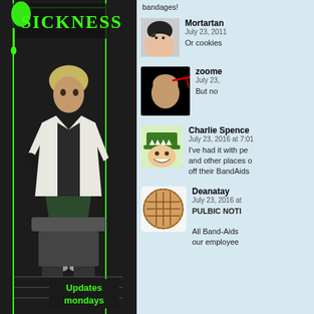[Figure (illustration): Comic book style illustration of a character in a white jacket sitting on machinery, with green neon 'Sickness' title text at top and 'Updates mondays' text at bottom. Dark sci-fi art style.]
bandages!
Mortartan
July 23, 2011
Or cookies
zoome
July 23,
But no
Charlie Spence
July 23, 2016 at 7:01
I've had it with pe and other places o off their BandAids
Deanatay
July 23, 2016 at
PULBIC NOTI
All Band-Aids our employee